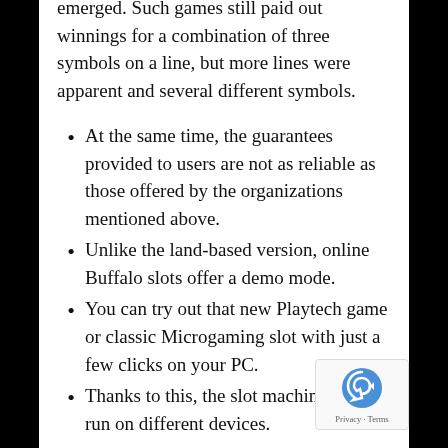emerged. Such games still paid out winnings for a combination of three symbols on a line, but more lines were apparent and several different symbols.
At the same time, the guarantees provided to users are not as reliable as those offered by the organizations mentioned above.
Unlike the land-based version, online Buffalo slots offer a demo mode.
You can try out that new Playtech game or classic Microgaming slot with just a few clicks on your PC.
Thanks to this, the slot machine can be run on different devices.
For example, you may play exciting slots from the most popular software suppliers real-time, with little or no buffering.
To activate or deactivate the musical